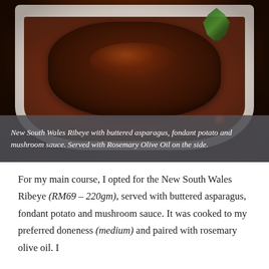[Figure (photo): Photo of New South Wales Ribeye steak with rich brown mushroom sauce on a white plate, garnished with green herbs and a cherry tomato, served on a dark background.]
New South Wales Ribeye with buttered asparagus, fondant potato and mushroom sauce. Served with Rosemary Olive Oil on the side.
For my main course, I opted for the New South Wales Ribeye (RM69 – 220gm), served with buttered asparagus, fondant potato and mushroom sauce. It was cooked to my preferred doneness (medium) and paired with rosemary olive oil. I